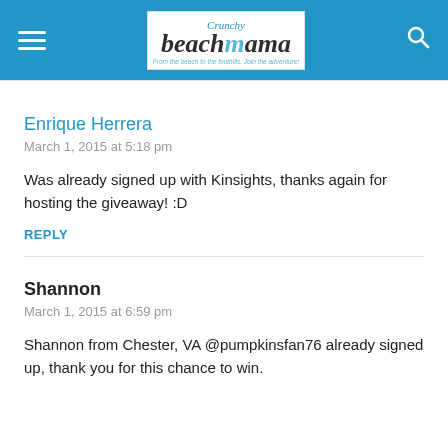Crunchy Beach Mama — From the beach to the foothills. Join the adventure!
Enrique Herrera
March 1, 2015 at 5:18 pm
Was already signed up with Kinsights, thanks again for hosting the giveaway! :D
REPLY
Shannon
March 1, 2015 at 6:59 pm
Shannon from Chester, VA @pumpkinsfan76 already signed up, thank you for this chance to win.